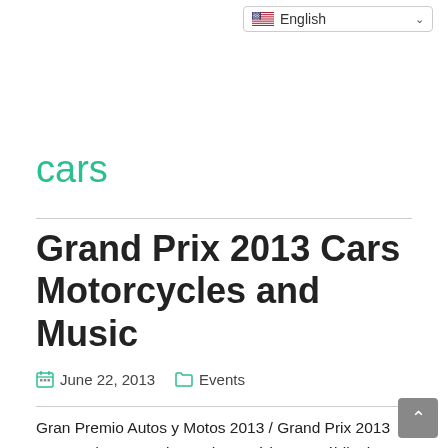English (language selector)
cars
Grand Prix 2013 Cars Motorcycles and Music
June 22, 2013   Events
Gran Premio Autos y Motos 2013 / Grand Prix 2013 Cars and Motorcycles at the Autódromo Móbil 1 in Santo Domingo presented by Brahma Light on July 6, 2013 at 2PM with the music starting at 8PM. There will be fast cars and motor bikes